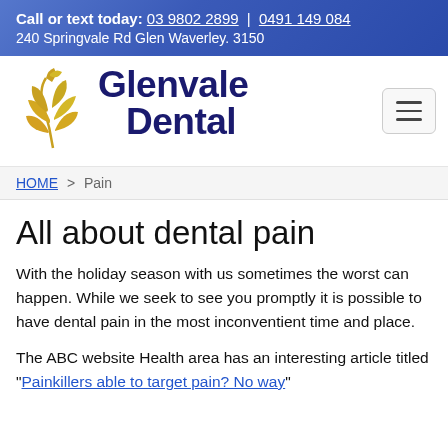Call or text today: 03 9802 2899 | 0491 149 084
240 Springvale Rd Glen Waverley. 3150
[Figure (logo): Glenvale Dental logo with gold wheat/leaf icon and dark navy text]
HOME > Pain
All about dental pain
With the holiday season with us sometimes the worst can happen. While we seek to see you promptly it is possible to have dental pain in the most inconventient time and place.
The ABC website Health area has an interesting article titled "Painkillers able to target pain? No way"